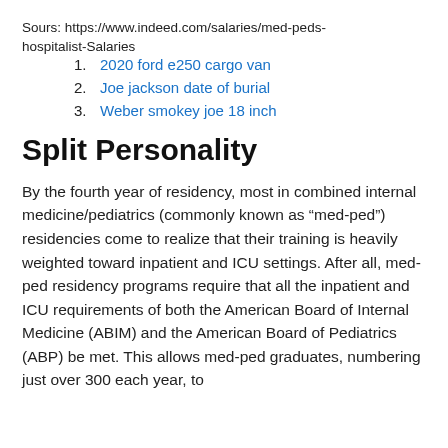Sours: https://www.indeed.com/salaries/med-peds-hospitalist-Salaries
1. 2020 ford e250 cargo van
2. Joe jackson date of burial
3. Weber smokey joe 18 inch
Split Personality
By the fourth year of residency, most in combined internal medicine/pediatrics (commonly known as “med-ped”) residencies come to realize that their training is heavily weighted toward inpatient and ICU settings. After all, med-ped residency programs require that all the inpatient and ICU requirements of both the American Board of Internal Medicine (ABIM) and the American Board of Pediatrics (ABP) be met. This allows med-ped graduates, numbering just over 300 each year, to